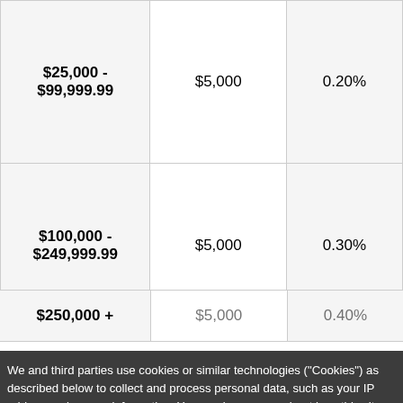| Balance Range | Minimum Opening Deposit | APY |
| --- | --- | --- |
| $25,000 - $99,999.99 | $5,000 | 0.20% |
| $100,000 - $249,999.99 | $5,000 | 0.30% |
| $250,000 + | $5,000 | 0.40% |
We and third parties use cookies or similar technologies ("Cookies") as described below to collect and process personal data, such as your IP address or browser information. You can learn more about how this site uses Cookies by reading our privacy notice linked below. By clicking "I consent to cookies", you accept the placement and use of these Cookies for these purposes. You can change your mind and revisit your preferences at any time by accessing the "Cookie Preferences" link in the footer of this site.
MAKE APPOINTMENT
I consent to cookies
Want to know more?
Privacy Notice
Business Savings